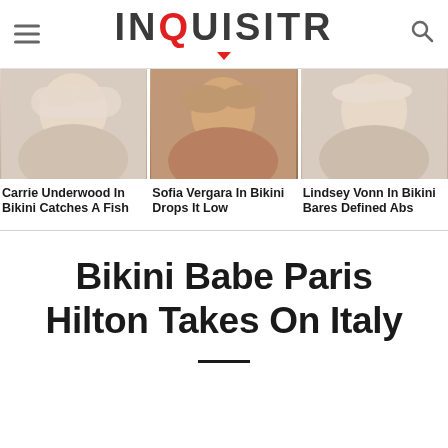INQUISITR
[Figure (photo): Three article thumbnail photos: Carrie Underwood, Sofia Vergara, Lindsey Vonn]
Carrie Underwood In Bikini Catches A Fish
Sofia Vergara In Bikini Drops It Low
Lindsey Vonn In Bikini Bares Defined Abs
Bikini Babe Paris Hilton Takes On Italy